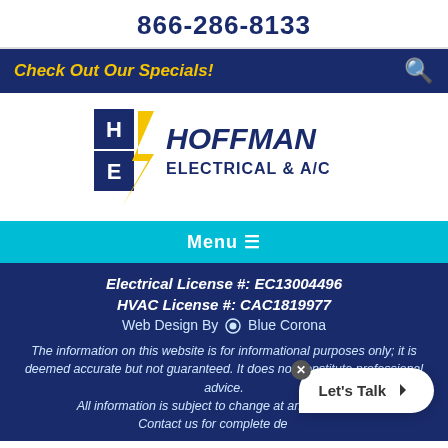866-286-8133
Check Out Our Specials!
[Figure (logo): Hoffman Electrical & A/C company logo with lightning bolt icon]
Menu
Electrical License #: EC13004496
HVAC License #: CAC1819977
Web Design By Blue Corona
The information on this website is for informational purposes only; it is deemed accurate but not guaranteed. It does not constitute professional advice. All information is subject to change at any notice. Contact us for complete details.